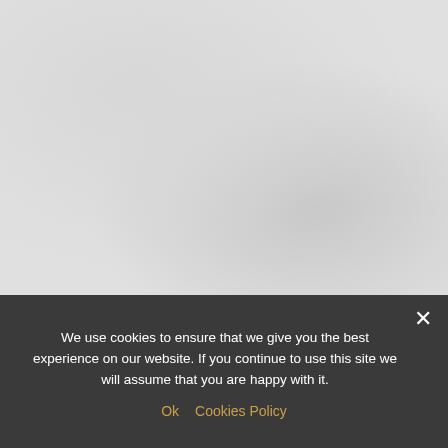[Figure (photo): Large light grey photograph or image area occupying the top two-thirds of the page, with subtle tonal variations suggesting a faded or washed-out photographic background.]
We use cookies to ensure that we give you the best experience on our website. If you continue to use this site we will assume that you are happy with it.
Ok   Cookies Policy